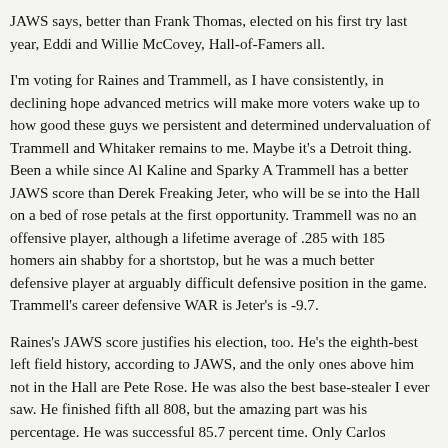JAWS says, better than Frank Thomas, elected on his first try last year, Eddi and Willie McCovey, Hall-of-Famers all.
I'm voting for Raines and Trammell, as I have consistently, in declining hope advanced metrics will make more voters wake up to how good these guys we persistent and determined undervaluation of Trammell and Whitaker remains to me. Maybe it's a Detroit thing. Been a while since Al Kaline and Sparky A Trammell has a better JAWS score than Derek Freaking Jeter, who will be se into the Hall on a bed of rose petals at the first opportunity. Trammell was no an offensive player, although a lifetime average of .285 with 185 homers ain shabby for a shortstop, but he was a much better defensive player at arguably difficult defensive position in the game. Trammell's career defensive WAR is Jeter's is -9.7.
Raines's JAWS score justifies his election, too. He's the eighth-best left field history, according to JAWS, and the only ones above him not in the Hall are Pete Rose. He was also the best base-stealer I ever saw. He finished fifth all 808, but the amazing part was his percentage. He was successful 85.7 percent time. Only Carlos Beltran, who tried less than half as often, has a better rate. Trammell, I am encouraged that advanced metrics bolster Raines's case, but that my colleagues in the BBWAA will see the light in time. The new rule al candidates to remain on the ballot only 10 years instead of 15 will hurt Raine than anyone else. He has three years left instead of eight, in the midst of the wave of superstars becoming eligible. Trammell was grandfathered into the stay, but has only two of them remaining. The both deserve inclusion, as the